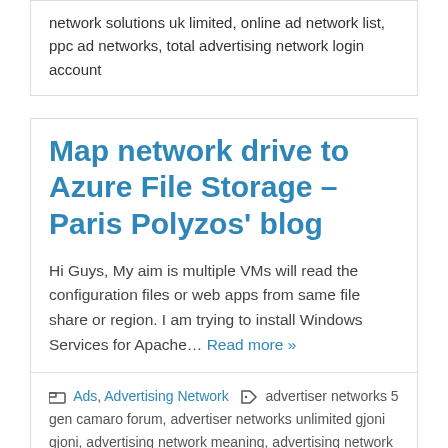network solutions uk limited, online ad network list, ppc ad networks, total advertising network login account
Map network drive to Azure File Storage – Paris Polyzos' blog
Hi Guys, My aim is multiple VMs will read the configuration files or web apps from same file share or region. I am trying to install Windows Services for Apache... Read more »
Ads, Advertising Network  advertiser networks 5 gen camaro forum, advertiser networks unlimited gjoni gjoni, advertising network meaning, advertising network solutions oxford michigan, google ad network youtube